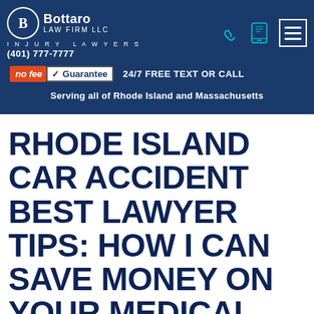[Figure (logo): Bottaro Law Firm LLC Injury Lawyers logo with circular B emblem, phone icons, tablet icon, hamburger menu, phone number (401) 777-7777, no fee Guarantee badge, 24/7 FREE TEXT OR CALL, and Serving all of Rhode Island and Massachusetts text on dark blue header]
RHODE ISLAND CAR ACCIDENT BEST LAWYER TIPS: HOW I CAN SAVE MONEY ON YOUR MEDICAL BILLS